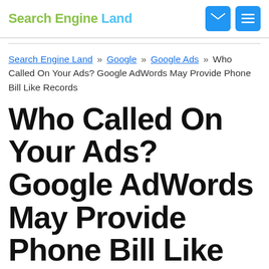Search Engine Land
Search Engine Land » Google » Google Ads » Who Called On Your Ads? Google AdWords May Provide Phone Bill Like Records
Who Called On Your Ads? Google AdWords May Provide Phone Bill Like Records
Click Quality Council Holds First Steering